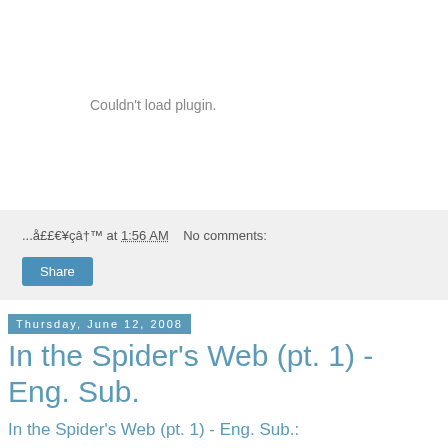[Figure (other): Plugin placeholder area showing 'Couldn't load plugin.' message in grey text on white background]
...å££€¥çâ†™ at 1:56 AM   No comments:
Share
Thursday, June 12, 2008
In the Spider's Web (pt. 1) - Eng. Sub.
In the Spider's Web (pt. 1) - Eng. Sub.:
"In the Spider's Web is a 47-minute long documentary